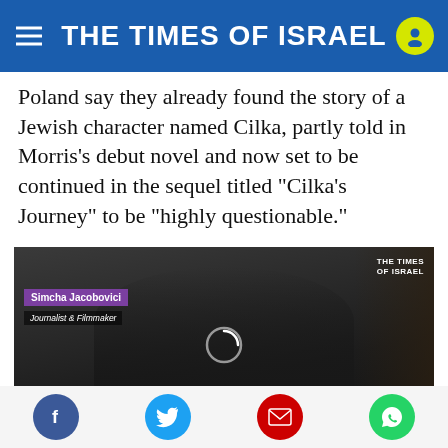THE TIMES OF ISRAEL
Poland say they already found the story of a Jewish character named Cilka, partly told in Morris's debut novel and now set to be continued in the sequel titled “Cilka’s Journey” to be “highly questionable.”
[Figure (screenshot): Video screenshot of Simcha Jacobovici (Journalist & Filmmaker) being interviewed, with The Times of Israel watermark. Subtitle reads: I brought the tools of an investigative journalist,]
Social share buttons: Facebook, Twitter, Email, WhatsApp